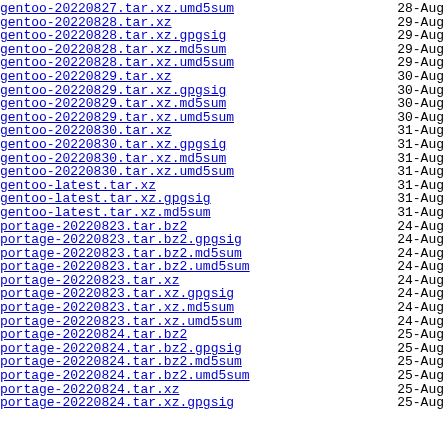gentoo-20220827.tar.xz.umd5sum  28-Aug
gentoo-20220828.tar.xz  29-Aug
gentoo-20220828.tar.xz.gpgsig  29-Aug
gentoo-20220828.tar.xz.md5sum  29-Aug
gentoo-20220828.tar.xz.umd5sum  29-Aug
gentoo-20220829.tar.xz  30-Aug
gentoo-20220829.tar.xz.gpgsig  30-Aug
gentoo-20220829.tar.xz.md5sum  30-Aug
gentoo-20220829.tar.xz.umd5sum  30-Aug
gentoo-20220830.tar.xz  31-Aug
gentoo-20220830.tar.xz.gpgsig  31-Aug
gentoo-20220830.tar.xz.md5sum  31-Aug
gentoo-20220830.tar.xz.umd5sum  31-Aug
gentoo-latest.tar.xz  31-Aug
gentoo-latest.tar.xz.gpgsig  31-Aug
gentoo-latest.tar.xz.md5sum  31-Aug
portage-20220823.tar.bz2  24-Aug
portage-20220823.tar.bz2.gpgsig  24-Aug
portage-20220823.tar.bz2.md5sum  24-Aug
portage-20220823.tar.bz2.umd5sum  24-Aug
portage-20220823.tar.xz  24-Aug
portage-20220823.tar.xz.gpgsig  24-Aug
portage-20220823.tar.xz.md5sum  24-Aug
portage-20220823.tar.xz.umd5sum  24-Aug
portage-20220824.tar.bz2  25-Aug
portage-20220824.tar.bz2.gpgsig  25-Aug
portage-20220824.tar.bz2.md5sum  25-Aug
portage-20220824.tar.bz2.umd5sum  25-Aug
portage-20220824.tar.xz  25-Aug
portage-20220824.tar.xz.gpgsig  25-Aug